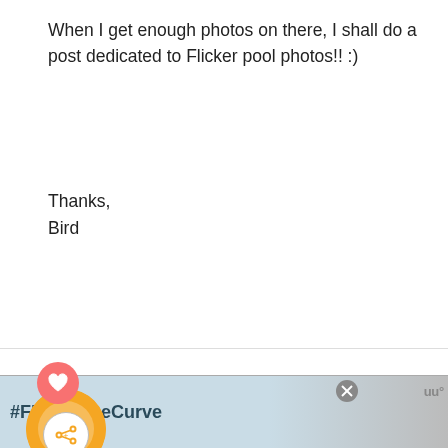When I get enough photos on there, I shall do a post dedicated to Flicker pool photos!! :)
Thanks,
Bird
Jerri At Simply Sweet Home
JULY 8, 2010 AT 10:46 AM
DELETE
REPLY
...y turned out beautifully! Great tutorial!
WHAT'S NEXT →
DIY Spring
Lollipop...
[Figure (screenshot): Ad banner with #FlattenTheCurve text and photo of handwashing, with close button and logo]
[Figure (screenshot): Scroll-to-top button (dark square with up arrow) at right edge]
[Figure (photo): Small circular thumbnail of flowers used as commenter avatar]
[Figure (infographic): Pink heart icon button (like/favorite) floating above orange avatar circle; orange circle with share icon and avatar photo below]